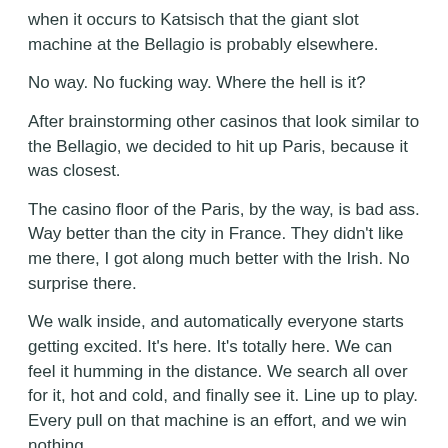when it occurs to Katsisch that the giant slot machine at the Bellagio is probably elsewhere.
No way. No fucking way. Where the hell is it?
After brainstorming other casinos that look similar to the Bellagio, we decided to hit up Paris, because it was closest.
The casino floor of the Paris, by the way, is bad ass. Way better than the city in France. They didn't like me there, I got along much better with the Irish. No surprise there.
We walk inside, and automatically everyone starts getting excited. It's here. It's totally here. We can feel it humming in the distance. We search all over for it, hot and cold, and finally see it. Line up to play. Every pull on that machine is an effort, and we win nothing.
Leeska, David and I head back to the Sahara. I lose all of my money again except for twenty bucks, and watch them play blackjack for awhile until about six in the morning when we decide it's time to give up.